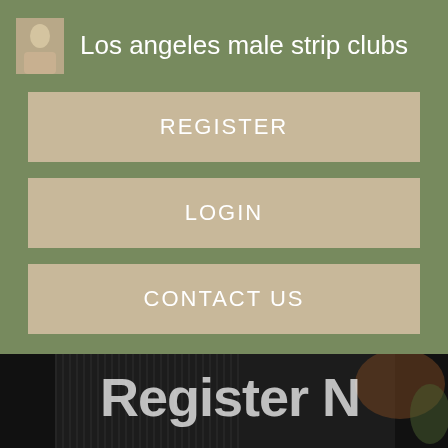Los angeles male strip clubs
REGISTER
LOGIN
CONTACT US
[Figure (photo): Dark background photo with large white text reading 'Register N...' and 'for Instant A...' overlaid, showing a person in dark clothing]